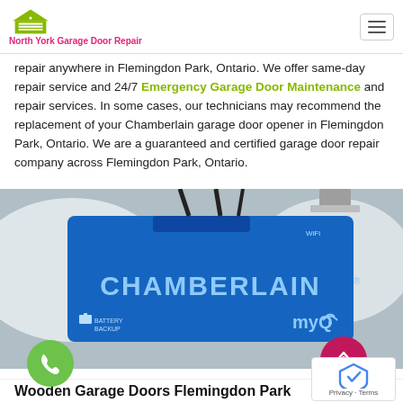North York Garage Door Repair
repair anywhere in Flemingdon Park, Ontario. We offer same-day repair service and 24/7 Emergency Garage Door Maintenance and repair services. In some cases, our technicians may recommend the replacement of your Chamberlain garage door opener in Flemingdon Park, Ontario. We are a guaranteed and certified garage door repair company across Flemingdon Park, Ontario.
[Figure (photo): A blue Chamberlain garage door opener unit mounted on ceiling, showing myQ logo and Battery Backup label]
Wooden Garage Doors Flemingdon Park